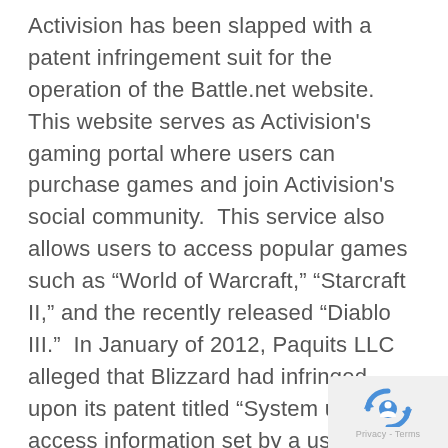Activision has been slapped with a patent infringement suit for the operation of the Battle.net website.  This website serves as Activision's gaming portal where users can purchase games and join Activision's social community.  This service also allows users to access popular games such as “World of Warcraft,” “Starcraft II,” and the recently released “Diablo III.”  In January of 2012, Paquits LLC alleged that Blizzard had infringed upon its patent titled “System using access information set by a user to allow another user to access updated portion of contact and personal information of the user.”  In its complaint, Paquits claims that the “Real ID” feature of Battle.net infringes upon its
[Figure (logo): reCAPTCHA privacy badge with blue arrow icon and 'Privacy - Terms' text]